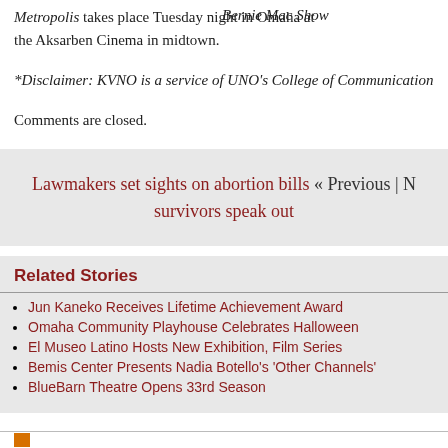Metropolis takes place Tuesday night in Omaha at the Aksarben Cinema in midtown.
Bernie Mac Show
*Disclaimer: KVNO is a service of UNO's College of Communication
Comments are closed.
Lawmakers set sights on abortion bills « Previous | Next survivors speak out
Related Stories
Jun Kaneko Receives Lifetime Achievement Award
Omaha Community Playhouse Celebrates Halloween
El Museo Latino Hosts New Exhibition, Film Series
Bemis Center Presents Nadia Botello's 'Other Channels'
BlueBarn Theatre Opens 33rd Season